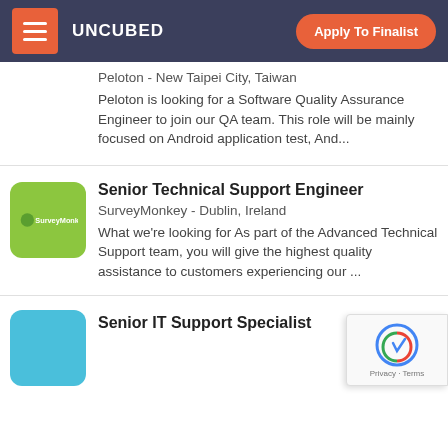UNCUBED | Apply To Finalist
Peloton - New Taipei City, Taiwan
Peloton is looking for a Software Quality Assurance Engineer to join our QA team. This role will be mainly focused on Android application test, And...
Senior Technical Support Engineer
SurveyMonkey - Dublin, Ireland
What we're looking for As part of the Advanced Technical Support team, you will give the highest quality assistance to customers experiencing our ...
Senior IT Support Specialist